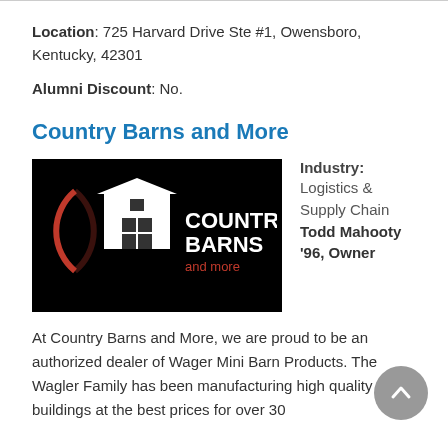Location: 725 Harvard Drive Ste #1, Owensboro, Kentucky, 42301
Alumni Discount: No.
Country Barns and More
[Figure (logo): Country Barns and More logo: white barn icon with red arch on black background, white text 'COUNTRY BARNS' and red text 'and more']
Industry: Logistics & Supply Chain
Todd Mahooty '96, Owner
At Country Barns and More, we are proud to be an authorized dealer of Wager Mini Barn Products. The Wagler Family has been manufacturing high quality buildings at the best prices for over 30 years. All...